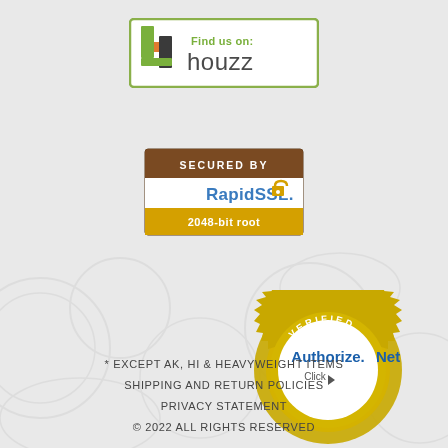[Figure (logo): Find us on: houzz badge with green and black logo]
[Figure (logo): Secured by RapidSSL 2048-bit root badge]
[Figure (logo): Authorize.Net Verified Merchant Click badge]
* EXCEPT AK, HI & HEAVYWEIGHT ITEMS
SHIPPING AND RETURN POLICIES
PRIVACY STATEMENT
© 2022 ALL RIGHTS RESERVED